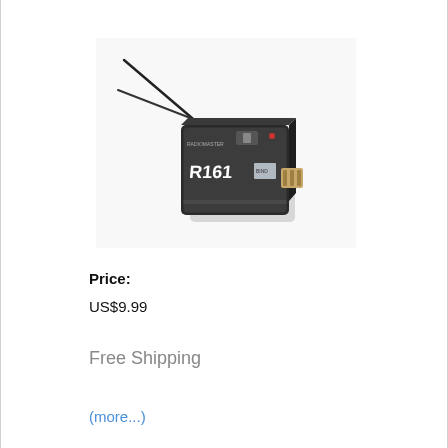[Figure (photo): RC receiver device labeled R161 with two antenna wires, shown in a product photo on white background]
Price:
US$9.99
Free Shipping
(more...)